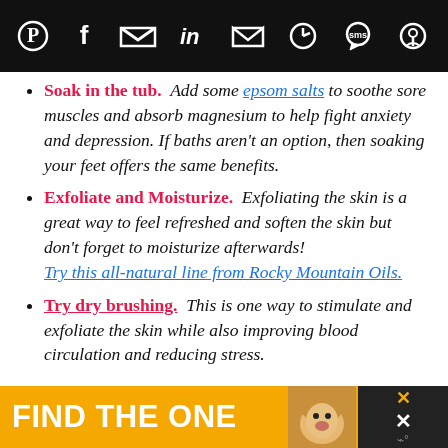[Figure (screenshot): Top navigation bar with social sharing icons: Pinterest, Facebook, Twitter, LinkedIn, Email, WhatsApp, SMS, and another icon on black background]
Soak in the tub. Add some epsom salts to soothe sore muscles and absorb magnesium to help fight anxiety and depression. If baths aren't an option, then soaking your feet offers the same benefits.
Exfoliate and Moisturize. Exfoliating the skin is a great way to feel refreshed and soften the skin but don't forget to moisturize afterwards! Try this all-natural line from Rocky Mountain Oils.
Try dry brushing. This is one way to stimulate and exfoliate the skin while also improving blood circulation and reducing stress.
[Figure (advertisement): Yellow/gold advertisement banner reading FIND THE ONE with a dog image and close button]